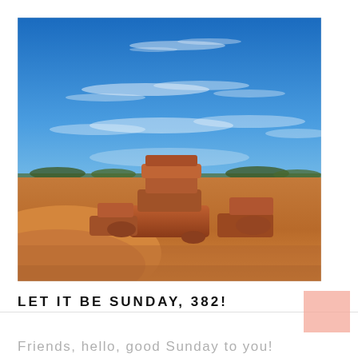[Figure (photo): Outdoor desert landscape photograph showing red rock formations in the foreground with a bright blue sky and wispy white clouds above. Red sandstone rocks are stacked and scattered across the terrain with sparse desert vegetation visible on the horizon.]
LET IT BE SUNDAY, 382!
Friends, hello, good Sunday to you!